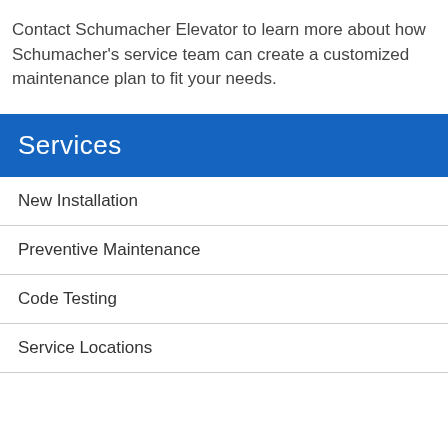Contact Schumacher Elevator to learn more about how Schumacher's service team can create a customized maintenance plan to fit your needs.
Services
New Installation
Preventive Maintenance
Code Testing
Service Locations